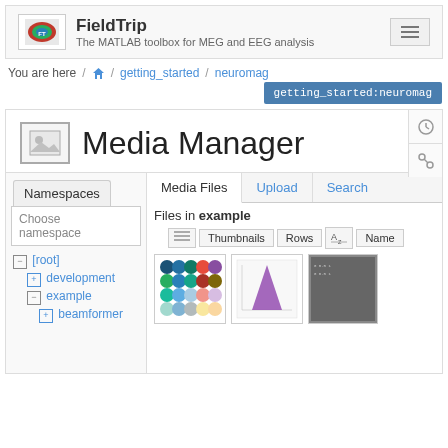[Figure (screenshot): FieldTrip website navigation bar with logo, site title 'FieldTrip - The MATLAB toolbox for MEG and EEG analysis', and hamburger menu icon]
You are here / 🏠 / getting_started / neuromag
getting_started:neuromag
Media Manager
Namespaces
Choose namespace
Media Files  Upload  Search
Files in example
Thumbnails  Rows  Name
- [root]
  + development
  - example
    + beamformer
[Figure (screenshot): Three thumbnail images in the media files area showing example files]